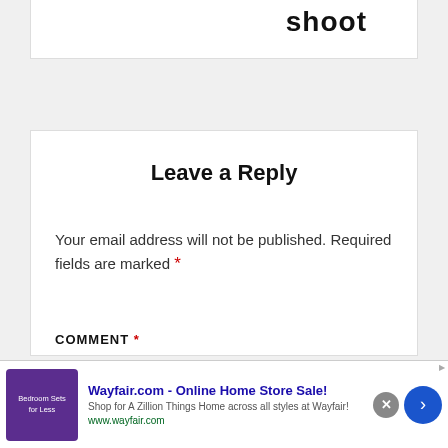[Figure (screenshot): Top portion of a webpage card showing partial text 'shoot' in large bold font, cut off at top]
Leave a Reply
Your email address will not be published. Required fields are marked *
COMMENT *
[Figure (screenshot): Wayfair.com advertisement banner: 'Wayfair.com - Online Home Store Sale! Shop for A Zillion Things Home across all styles at Wayfair! www.wayfair.com' with purple bedroom furniture image, close button, and blue arrow button]